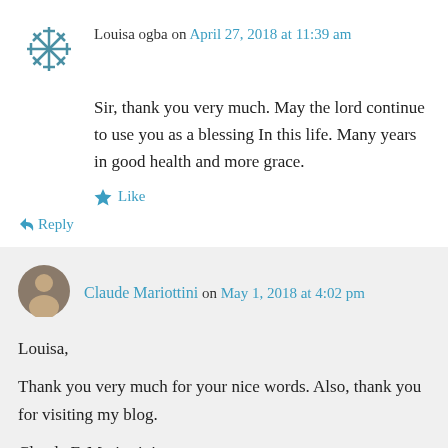Louisa ogba on April 27, 2018 at 11:39 am
Sir, thank you very much. May the lord continue to use you as a blessing In this life. Many years in good health and more grace.
★ Like
↪ Reply
Claude Mariottini on May 1, 2018 at 4:02 pm
Louisa,

Thank you very much for your nice words. Also, thank you for visiting my blog.

Claude F. Mariottini